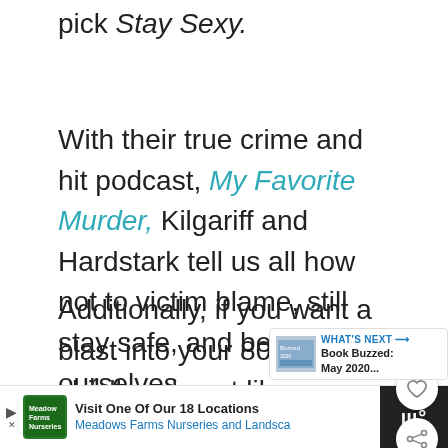pick Stay Sexy.
With their true crime and hit podcast, My Favorite Murder, Kilgariff and Hardstark tell us all how not to victim blame, still stay safe, and be ourselves.
Additionally, if you want a blast into your 80s childhood past like us, follow along with the authors as they come of age, ride Vespas, overcome obstacles including sex and ultimately become the sensations that th...
[Figure (screenshot): UI overlay buttons: heart/like button and share button]
[Figure (screenshot): What's Next promotional card: Book Buzzed: May 2020...]
[Figure (screenshot): Bottom advertisement bar: Visit One Of Our 18 Locations - Meadows Farms Nurseries and Landscape, with dark right section showing audio/Tidal logo]